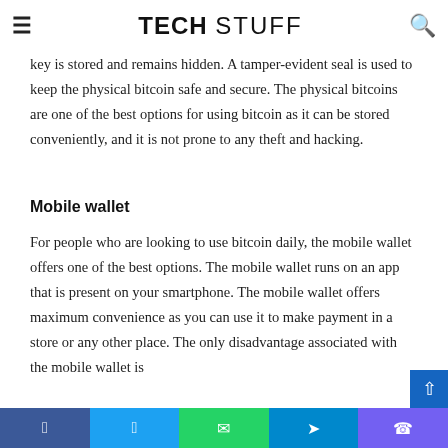TECH STUFF
Physical bitcoins are loaded with some amount of a BTC that persists as long as the private key is stored and remains hidden. A tamper-evident seal is used to keep the physical bitcoin safe and secure. The physical bitcoins are one of the best options for using bitcoin as it can be stored conveniently, and it is not prone to any theft and hacking.
Mobile wallet
For people who are looking to use bitcoin daily, the mobile wallet offers one of the best options. The mobile wallet runs on an app that is present on your smartphone. The mobile wallet offers maximum convenience as you can use it to make payment in a store or any other place. The only disadvantage associated with the mobile wallet is